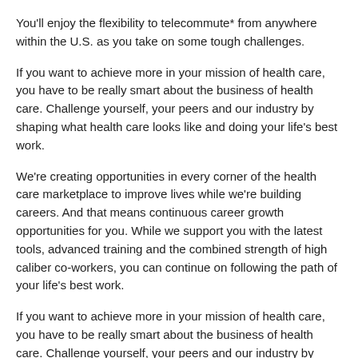You'll enjoy the flexibility to telecommute* from anywhere within the U.S. as you take on some tough challenges.
If you want to achieve more in your mission of health care, you have to be really smart about the business of health care. Challenge yourself, your peers and our industry by shaping what health care looks like and doing your life's best work.
We're creating opportunities in every corner of the health care marketplace to improve lives while we're building careers. And that means continuous career growth opportunities for you. While we support you with the latest tools, advanced training and the combined strength of high caliber co-workers, you can continue on following the path of your life's best work.
If you want to achieve more in your mission of health care, you have to be really smart about the business of health care. Challenge yourself, your peers and our industry by shaping what health care looks like and doing your life's best work.
In this role you will be responsible for developing marketing, merchandising, and creative strategies and tactics to promote and sell the "Web experience" from the viewpoint of the customer. Develops affiliated programs designed to increase exposure to and business from the target audience. Establishes and manages the